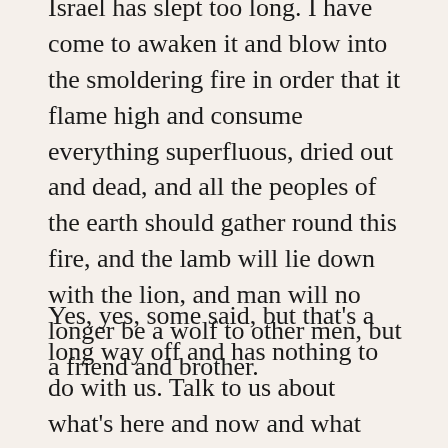Israel has slept too long. I have come to awaken it and blow into the smoldering fire in order that it flame high and consume everything superfluous, dried out and dead, and all the peoples of the earth should gather round this fire, and the lamb will lie down with the lion, and man will no longer be a wolf to other men, but a friend and brother.
Yes, yes, some said, but that's a long way off and has nothing to do with us. Talk to us about what's here and now and what peace means here an now and how it's to be accomplished as long as Peace...